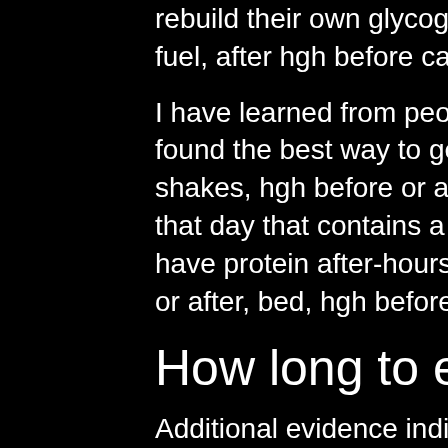rebuild their own glycogen, as well as provide you with muscle fuel, after hgh before carbs or.
I have learned from people that I have never met, that they found the best way to get their protein was to take two protein shakes, hgh before or after carbs. And, in addition, have lunch that day that contains a protein meal, while still making sure to have protein after-hours snacks to support your energy up to, or after, bed, hgh before and after height increase.
How long to eat after hgh shot
Additional evidence indicates creatine can also be helpful for people who need to rebuild muscle mass after an injury or after being on crutches or in a cast for a long time," she said. "A healthy diet is also great for your muscle growth and maintenance...